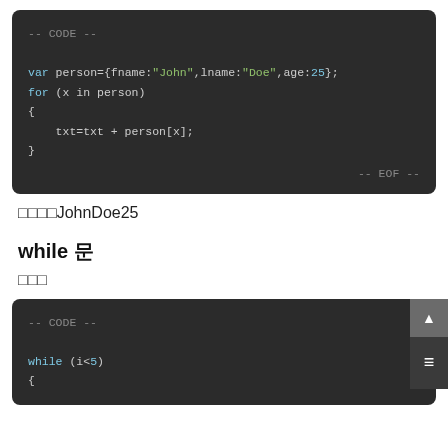[Figure (screenshot): Code block showing JavaScript for-in loop iterating over person object with fname:John, lname:Doe, age:25, concatenating values into txt variable]
□□□□JohnDoe25
while 문
□□□
[Figure (screenshot): Code block showing JavaScript while loop with condition i<5]